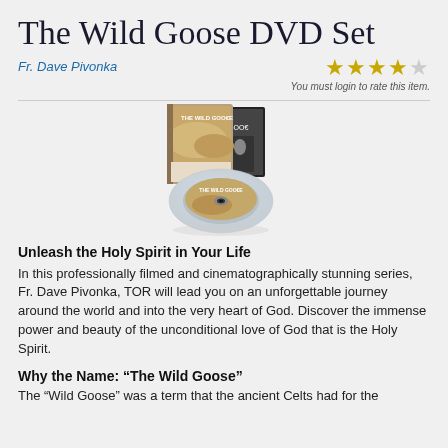The Wild Goose DVD Set
Fr. Dave Pivonka
[Figure (other): Star rating: 4 out of 5 stars, with login note 'You must login to rate this item.']
[Figure (photo): Product photo of The Wild Goose DVD Set showing a DVD case and disc with desert landscape imagery.]
Unleash the Holy Spirit in Your Life
In this professionally filmed and cinematographically stunning series, Fr. Dave Pivonka, TOR will lead you on an unforgettable journey around the world and into the very heart of God. Discover the immense power and beauty of the unconditional love of God that is the Holy Spirit.
Why the Name: “The Wild Goose”
The “Wild Goose” was a term that the ancient Celts had for the